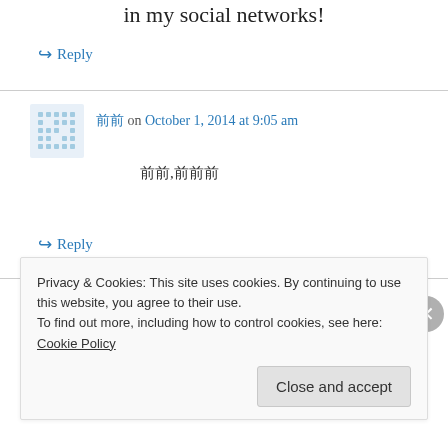in my social networks!
↪ Reply
前前 on October 1, 2014 at 9:05 am
前前,前前前
↪ Reply
Independentmumbaiescort.Com on October 1, 2014 at 9:16 am
Privacy & Cookies: This site uses cookies. By continuing to use this website, you agree to their use. To find out more, including how to control cookies, see here: Cookie Policy
Close and accept